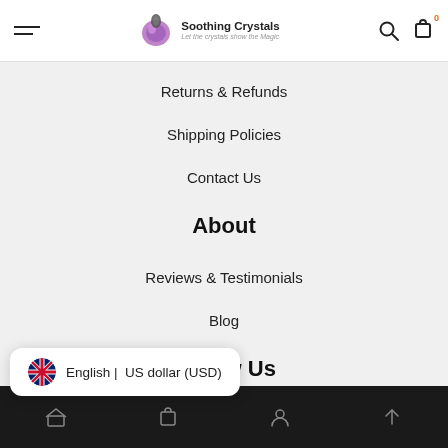Soothing Crystals — Let the crystals show the Magic
Returns & Refunds
Shipping Policies
Contact Us
About
Reviews & Testimonials
Blog
Follow Us
English | US dollar (USD)